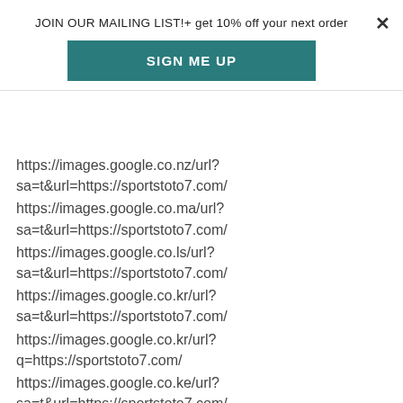JOIN OUR MAILING LIST!+ get 10% off your next order
[Figure (other): Teal 'SIGN ME UP' button]
https://images.google.co.nz/url?sa=t&url=https://sportstoto7.com/
https://images.google.co.ma/url?sa=t&url=https://sportstoto7.com/
https://images.google.co.ls/url?sa=t&url=https://sportstoto7.com/
https://images.google.co.kr/url?sa=t&url=https://sportstoto7.com/
https://images.google.co.kr/url?q=https://sportstoto7.com/
https://images.google.co.ke/url?sa=t&url=https://sportstoto7.com/